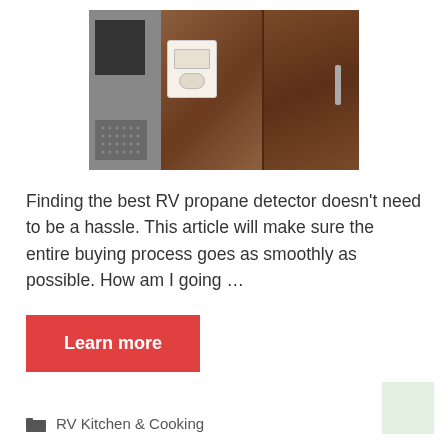[Figure (photo): Photo of an RV propane detector mounted on a wooden cabinet wall next to a TV/monitor.]
Finding the best RV propane detector doesn’t need to be a hassle. This article will make sure the entire buying process goes as smoothly as possible. How am I going …
Learn more
RV Kitchen & Cooking